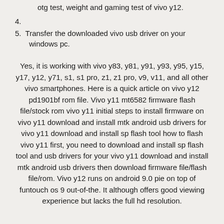otg test, weight and gaming test of vivo y12.
4.
5. Transfer the downloaded vivo usb driver on your windows pc.
Yes, it is working with vivo y83, y81, y91, y93, y95, y15, y17, y12, y71, s1, s1 pro, z1, z1 pro, v9, v11, and all other vivo smartphones. Here is a quick article on vivo y12 pd1901bf rom file. Vivo y11 mt6582 firmware flash file/stock rom vivo y11 initial steps to install firmware on vivo y11 download and install mtk android usb drivers for vivo y11 download and install sp flash tool how to flash vivo y11 first, you need to download and install sp flash tool and usb drivers for your vivo y11 download and install mtk android usb drivers then download firmware file/flash file/rom. Vivo y12 runs on android 9.0 pie on top of funtouch os 9 out-of-the. It although offers good viewing experience but lacks the full hd resolution.